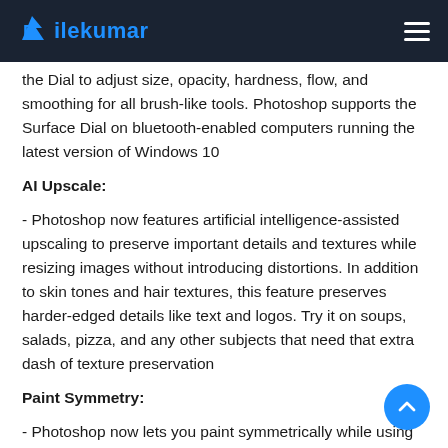Filekumar
the Dial to adjust size, opacity, hardness, flow, and smoothing for all brush-like tools. Photoshop supports the Surface Dial on bluetooth-enabled computers running the latest version of Windows 10
AI Upscale:
- Photoshop now features artificial intelligence-assisted upscaling to preserve important details and textures while resizing images without introducing distortions. In addition to skin tones and hair textures, this feature preserves harder-edged details like text and logos. Try it on soups, salads, pizza, and any other subjects that need that extra dash of texture preservation
Paint Symmetry:
- Photoshop now lets you paint symmetrically while using Brush, Pencil, and Eraser tools. While using these tools, click